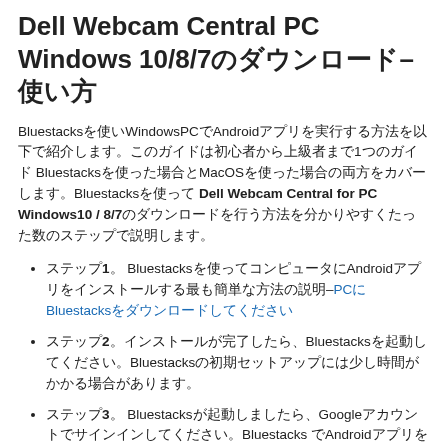Dell Webcam Central PC Windows 10/8/7のダウンロード–使い方
Bluestacksを使いWindowsPCでAndroidアプリを実行する方法を以下で紹介します。このガイドは初心者から上級者まで1つのガイド Bluestacksを使った場合とMacOSを使った場合の両方をカバーします。Bluestacksを使って Dell Webcam Central for PC Windows10 / 8/7のダウンロードを行う方法を分かりやすくたった数のステップで説明します。
ステップ1。 Bluestacksを使ってコンピュータにAndroidアプリをインストールする最も簡単な方法の説明–PCにBluestacksをダウンロードしてください
ステップ2。インストールが完了したら、Bluestacksを起動してください。Bluestacksの初期セットアップには少し時間がかかる場合があります。
ステップ3。 Bluestacksが起動しましたら、Googleアカウントでサインインしてください。Bluestacks でAndroidアプリを入手するためにサインインが必要です。
ステップ4。 GooglePlayからBluestacksにアクセスして検索バーにアプリ名を入力します。Playstoreで見つかったら、インストールをクリックしてください。
ステップ5。PCにインストールが完了したら、すぐにPCでアプリを使用できます。 Dell Webcam Central のダウンロード完了